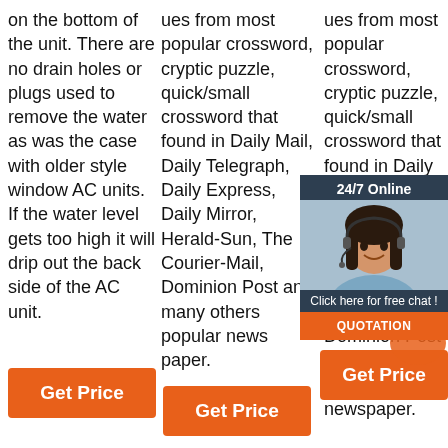on the bottom of the unit. There are no drain holes or plugs used to remove the water as was the case with older style window AC units. If the water level gets too high it will drip out the back side of the AC unit.
ues from most popular crossword, cryptic puzzle, quick/small crossword that found in Daily Mail, Daily Telegraph, Daily Express, Daily Mirror, Herald-Sun, The Courier-Mail, Dominion Post and many others popular news paper.
ues from most popular crossword, cryptic puzzle, quick/small crossword that found in Daily Mail, Daily Telegraph, Daily Express, Daily Mirror, Herald-Sun, The Courier-Mail, Dominion Post and many others popular newspaper.
[Figure (infographic): 24/7 Online chat widget with a woman wearing a headset. Dark blue/grey background. Includes 'Click here for free chat!' text and an orange QUOTATION button.]
Get Price
Get Price
Get Price